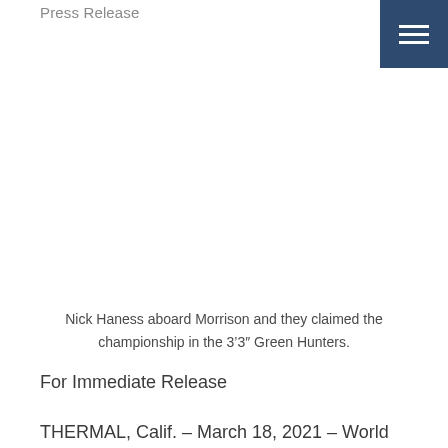Press Release
Nick Haness aboard Morrison and they claimed the championship in the 3'3" Green Hunters.
For Immediate Release
THERMAL, Calif. – March 18, 2021 – World